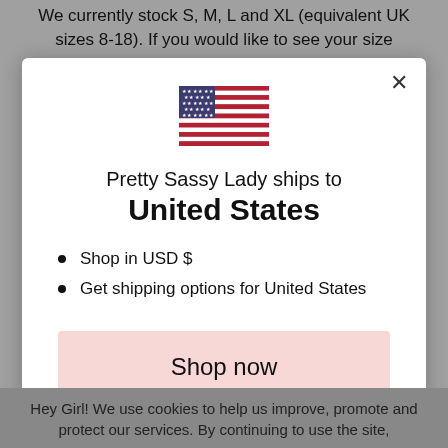We currently stock S, M, L and XL (equivalent UK sizes 8-18). If you would like to see your size
Pretty Sassy Lady ships to United States
Shop in USD $
Get shipping options for United States
Shop now
Change shipping country
Hey Girl! We use cookies to help us improve, promote and protect our services. By continuing to use the site,